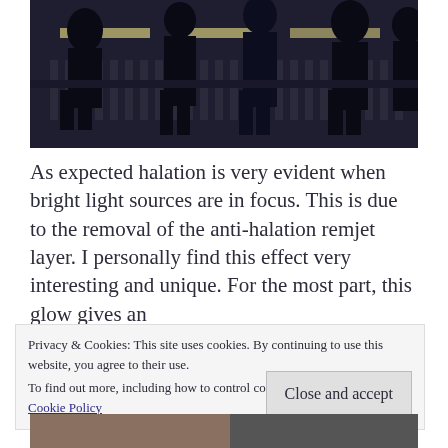[Figure (photo): Silhouettes of people standing against a lit balcony railing with ornate balusters and horizontal light strips in the background, dark moody atmosphere]
As expected halation is very evident when bright light sources are in focus. This is due to the removal of the anti-halation remjet layer. I personally find this effect very interesting and unique. For the most part, this glow gives an
Privacy & Cookies: This site uses cookies. By continuing to use this website, you agree to their use.
To find out more, including how to control cookies, see here:
Cookie Policy
Close and accept
[Figure (photo): Partial view of bottom photographs, partially cut off]